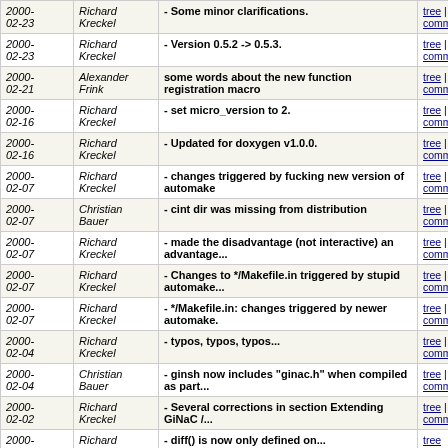| Date | Author | Message | Links |
| --- | --- | --- | --- |
| 2000-02-23 | Richard Kreckel | - Some minor clarifications. | tree | commitdiff |
| 2000-02-23 | Richard Kreckel | - Version 0.5.2 -> 0.5.3. | tree | commitdiff |
| 2000-02-21 | Alexander Frink | some words about the new function registration macro | tree | commitdiff |
| 2000-02-16 | Richard Kreckel | - set micro_version to 2. | tree | commitdiff |
| 2000-02-16 | Richard Kreckel | - Updated for doxygen v1.0.0. | tree | commitdiff |
| 2000-02-07 | Richard Kreckel | - changes triggered by fucking new version of automake | tree | commitdiff |
| 2000-02-07 | Christian Bauer | - cint dir was missing from distribution | tree | commitdiff |
| 2000-02-07 | Richard Kreckel | - made the disadvantage (not interactive) an advantage... | tree | commitdiff |
| 2000-02-07 | Richard Kreckel | - Changes to */Makefile.in triggered by stupid automake... | tree | commitdiff |
| 2000-02-07 | Richard Kreckel | - */Makefile.in: changes triggered by newer automake. | tree | commitdiff |
| 2000-02-04 | Richard Kreckel | - typos, typos, typos... | tree | commitdiff |
| 2000-02-04 | Christian Bauer | - ginsh now includes "ginac.h" when compiled as part... | tree | commitdiff |
| 2000-02-02 | Richard Kreckel | - Several corrections in section Extending GiNaC /... | tree | commitdiff |
| 2000- | Richard | - diff() is now only defined on... | tree |